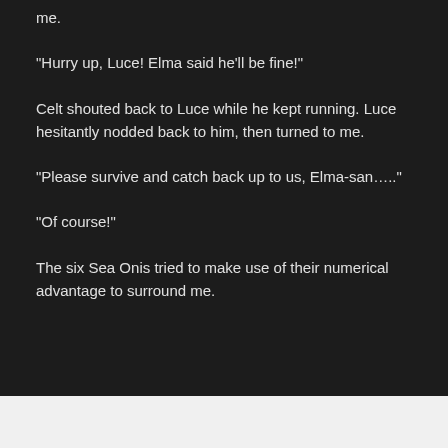me.
“Hurry up, Luce! Elma said he’ll be fine!”
Celt shouted back to Luce while he kept running. Luce hesitantly nodded back to him, then turned to me.
“Please survive and catch back up to us, Elma-san….”
“Of course!”
The six Sea Onis tried to make use of their numerical advantage to surround me.